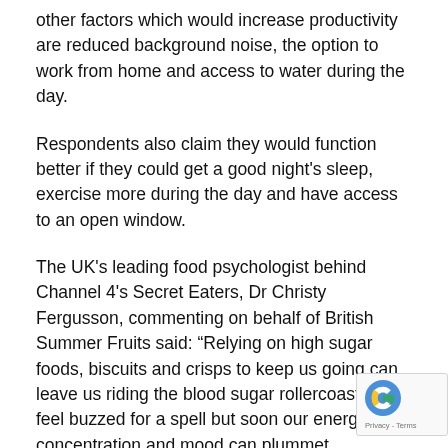other factors which would increase productivity are reduced background noise, the option to work from home and access to water during the day.
Respondents also claim they would function better if they could get a good night's sleep, exercise more during the day and have access to an open window.
The UK's leading food psychologist behind Channel 4's Secret Eaters, Dr Christy Fergusson, commenting on behalf of British Summer Fruits said: “Relying on high sugar foods, biscuits and crisps to keep us going can leave us riding the blood sugar rollercoaster. We feel buzzed for a spell but soon our energy, concentration and mood can plummet.
“One of the best foods to snack on has to be berries. Not only are they loaded with antioxidants and highly nutri… they are also low in sugar. You could say they are nature’s